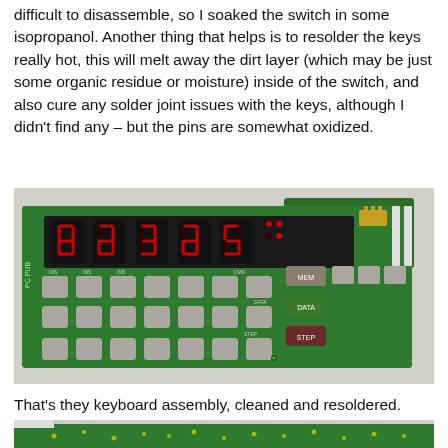difficult to disassemble, so I soaked the switch in some isopropanol. Another thing that helps is to resolder the keys really hot, this will melt away the dirt layer (which may be just some organic residue or moisture) inside of the switch, and also cure any solder joint issues with the keys, although I didn't find any – but the pins are somewhat oxidized.
[Figure (photo): Green PCB keyboard assembly with red LED digit displays on the left portion and multiple grey tactile push buttons arranged in a grid, plus additional function buttons labeled MEM, DATA, STEP on the right side. One yellow connector visible on the upper right portion.]
That's they keyboard assembly, cleaned and resoldered.
[Figure (photo): Close-up of a green circuit board showing solder points and component holes, partial view cropped at bottom of page.]